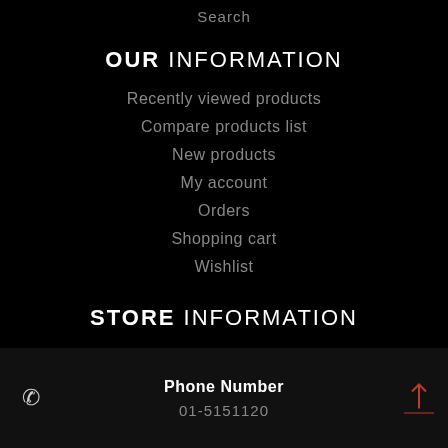Search
OUR INFORMATION
Recently viewed products
Compare products list
New products
My account
Orders
Shopping cart
Wishlist
STORE INFORMATION
Phone Number
01-5151120